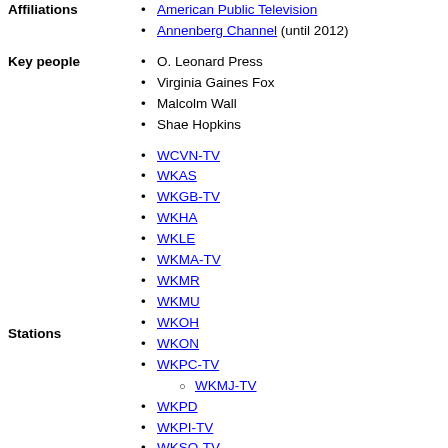American Public Television
Annenberg Channel (until 2012)
O. Leonard Press
Virginia Gaines Fox
Malcolm Wall
Shae Hopkins
WCVN-TV
WKAS
WKGB-TV
WKHA
WKLE
WKMA-TV
WKMR
WKMU
WKOH
WKON
WKPC-TV
WKMJ-TV
WKPD
WKPI-TV
WKSO-TV
WKZT-TV